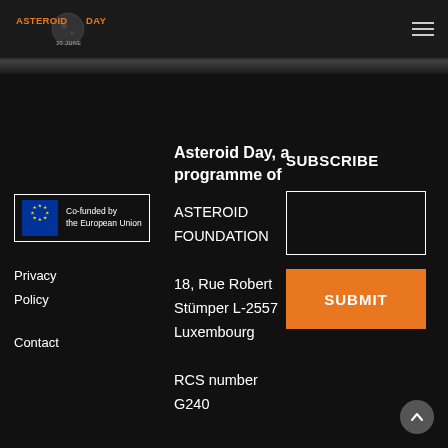ASTEROID DAY 30 JUNE
[Figure (logo): Asteroid Day logo with orange text and moon/asteroid graphic]
[Figure (logo): Co-funded by the European Union badge with EU stars flag]
Privacy Policy  Contact
Asteroid Day, a programme of
ASTEROID FOUNDATION
18, Rue Robert Stümper L-2557 Luxembourg
RCS number G240
SUBSCRIBE
SUBMIT